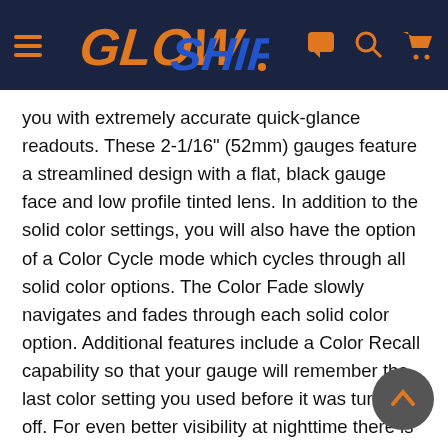GlowShift navigation bar
you with extremely accurate quick-glance readouts. These 2-1/16" (52mm) gauges feature a streamlined design with a flat, black gauge face and low profile tinted lens. In addition to the solid color settings, you will also have the option of a Color Cycle mode which cycles through all solid color options. The Color Fade slowly navigates and fades through each solid color option. Additional features include a Color Recall capability so that your gauge will remember the last color setting you used before it was turned off. For even better visibility at nighttime there is an easy-to-use Dimming Feature which allows you to dim the gauge 50% at night for clearer viewing. All of these options provide you with the ability to fully customize the lighting experience of these innovative digital gauges. GlowShift also includes all sensors, wiring, mounting hardware and a one-year limited warranty with each purchase.